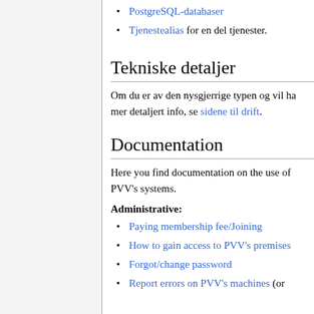PostgreSQL-databaser
Tjenestealias for en del tjenester.
Tekniske detaljer
Om du er av den nysgjerrige typen og vil ha mer detaljert info, se sidene til drift.
Documentation
Here you find documentation on the use of PVV's systems.
Administrative:
Paying membership fee/Joining
How to gain access to PVV's premises
Forgot/change password
Report errors on PVV's machines (or